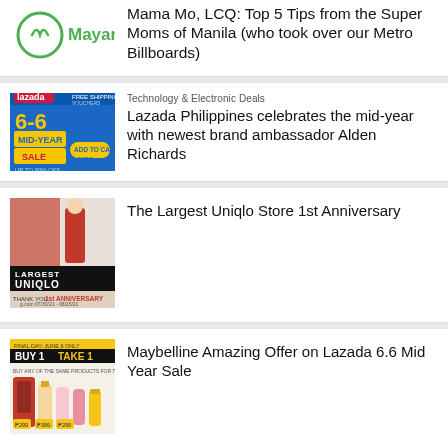[Figure (logo): Mayani brand logo with green circular icon]
Mama Mo, LCQ: Top 5 Tips from the Super Moms of Manila (who took over our Metro Billboards)
[Figure (photo): Lazada Philippines 6.6 Mid-Year Sale promotional banner with blue background]
Technology & Electronic Deals
Lazada Philippines celebrates the mid-year with newest brand ambassador Alden Richards
[Figure (photo): Largest Uniqlo store 1st anniversary promotional image]
The Largest Uniqlo Store 1st Anniversary
[Figure (photo): Maybelline Buy 1 Take 1 promotional banner for Lazada 6.6 Mid Year Sale]
Maybelline Amazing Offer on Lazada 6.6 Mid Year Sale